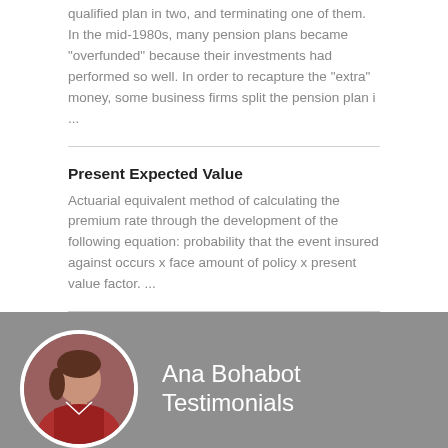qualified plan in two, and terminating one of them. In the mid-1980s, many pension plans became "overfunded" because their investments had performed so well. In order to recapture the "extra" money, some business firms split the pension plan i ...
Present Expected Value
Actuarial equivalent method of calculating the premium rate through the development of the following equation: probability that the event insured against occurs x face amount of policy x present value factor. ...
Ana Bohabot Testimonials
[Figure (photo): Circular portrait photo of Ana Bohabot, a woman in a red jacket, against a gray background]
Ana has negotiated a couple of investment properties for me that involved short sales. Although a very frustrating process dealing with the banks